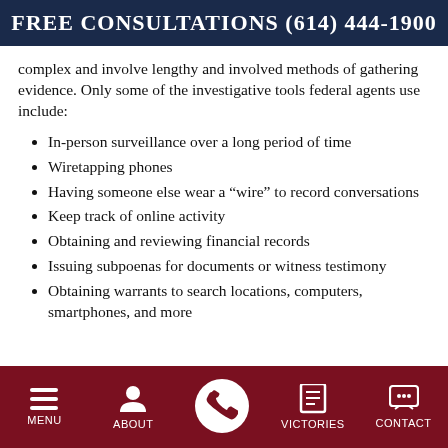FREE CONSULTATIONS (614) 444-1900
complex and involve lengthy and involved methods of gathering evidence. Only some of the investigative tools federal agents use include:
In-person surveillance over a long period of time
Wiretapping phones
Having someone else wear a “wire” to record conversations
Keep track of online activity
Obtaining and reviewing financial records
Issuing subpoenas for documents or witness testimony
Obtaining warrants to search locations, computers, smartphones, and more
MENU | ABOUT | (phone) | VICTORIES | CONTACT